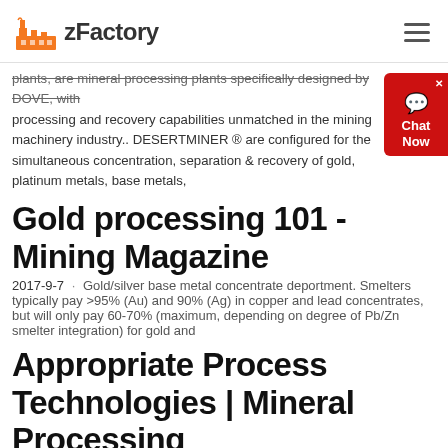[Figure (logo): zFactory logo with orange factory icon and bold text 'zFactory']
plants, are mineral processing plants specifically designed by DOVE, with processing and recovery capabilities unmatched in the mining machinery industry.. DESERTMINER ® are configured for the simultaneous concentration, separation & recovery of gold, platinum metals, base metals,
Gold processing 101 - Mining Magazine
2017-9-7 · Gold/silver base metal concentrate deportment. Smelters typically pay >95% (Au) and 90% (Ag) in copper and lead concentrates, but will only pay 60-70% (maximum, depending on degree of Pb/Zn smelter integration) for gold and
Appropriate Process Technologies | Mineral Processing